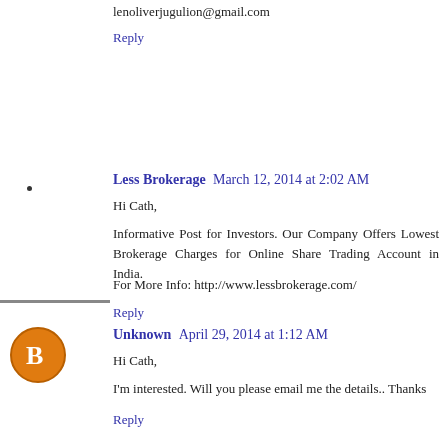lenoliverjugulion@gmail.com
Reply
Less Brokerage  March 12, 2014 at 2:02 AM
Hi Cath,
Informative Post for Investors. Our Company Offers Lowest Brokerage Charges for Online Share Trading Account in India.
For More Info: http://www.lessbrokerage.com/
Reply
Unknown  April 29, 2014 at 1:12 AM
Hi Cath,
I'm interested. Will you please email me the details.. Thanks
Reply